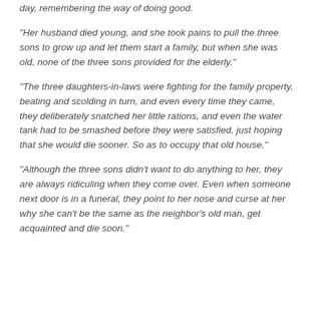day, remembering the way of doing good.
“Her husband died young, and she took pains to pull the three sons to grow up and let them start a family, but when she was old, none of the three sons provided for the elderly.”
“The three daughters-in-laws were fighting for the family property, beating and scolding in turn, and even every time they came, they deliberately snatched her little rations, and even the water tank had to be smashed before they were satisfied, just hoping that she would die sooner. So as to occupy that old house.”
“Although the three sons didn’t want to do anything to her, they are always ridiculing when they come over. Even when someone next door is in a funeral, they point to her nose and curse at her why she can’t be the same as the neighbor’s old man, get acquainted and die soon.”